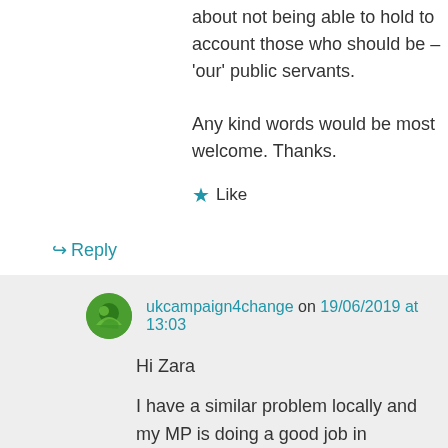about not being able to hold to account those who should be – 'our' public servants.
Any kind words would be most welcome. Thanks.
★ Like
↪ Reply
ukcampaign4change on 19/06/2019 at 13:03
Hi Zara
I have a similar problem locally and my MP is doing a good job in speaking at public meeting against the proposals and generally fighting the Cause. While MPs at